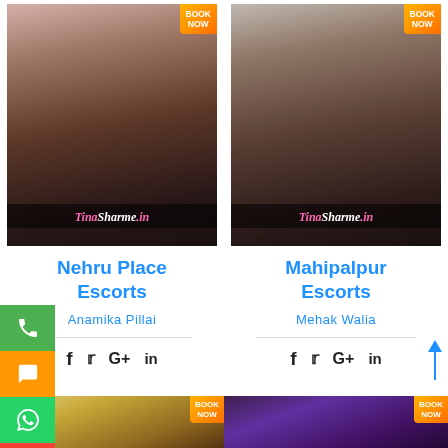[Figure (photo): Left card photo of woman in black lingerie with BOOK NOW badge and TinaSharme.in watermark]
[Figure (photo): Right card photo of brunette woman in black and white lingerie with BOOK NOW badge and TinaSharme.in watermark]
Nehru Place Escorts
Mahipalpur Escorts
Anamika Pillai
Mehak Walia
[Figure (infographic): Social share icons: f (Facebook), Twitter bird, G+, in (LinkedIn) — left card]
[Figure (infographic): Social share icons: f (Facebook), Twitter bird, G+, in (LinkedIn) — right card]
[Figure (photo): Bottom left card photo of blonde woman with BOOK NOW badge]
[Figure (photo): Bottom right card photo of dark-haired woman with BOOK NOW badge]